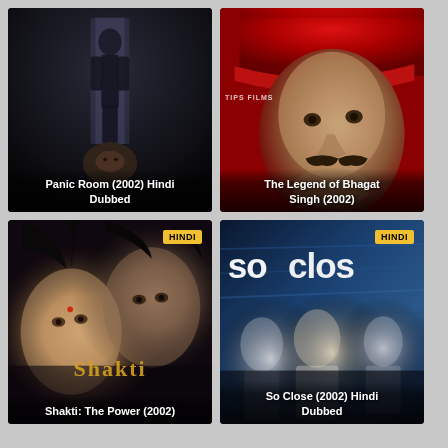[Figure (photo): Movie poster for Panic Room (2002) Hindi Dubbed - dark thriller with silhouette figure and face in shadow]
[Figure (photo): Movie poster for The Legend of Bhagat Singh (2002) - man with red hat and moustache close-up portrait, Tips Films watermark]
[Figure (photo): Movie poster for Shakti: The Power (2002) - Hindi badge, two faces close-up with stylized Shakti logo]
[Figure (photo): Movie poster for So Close (2002) Hindi Dubbed - Hindi badge, three women standing, So Close logo text, blue action movie style]